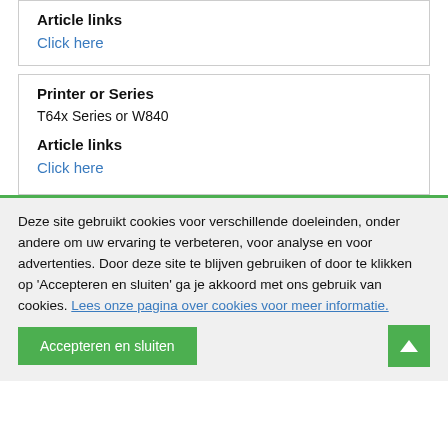Article links
Click here
Printer or Series
T64x Series or W840
Article links
Click here
Deze site gebruikt cookies voor verschillende doeleinden, onder andere om uw ervaring te verbeteren, voor analyse en voor advertenties. Door deze site te blijven gebruiken of door te klikken op 'Accepteren en sluiten' ga je akkoord met ons gebruik van cookies. Lees onze pagina over cookies voor meer informatie.
Accepteren en sluiten